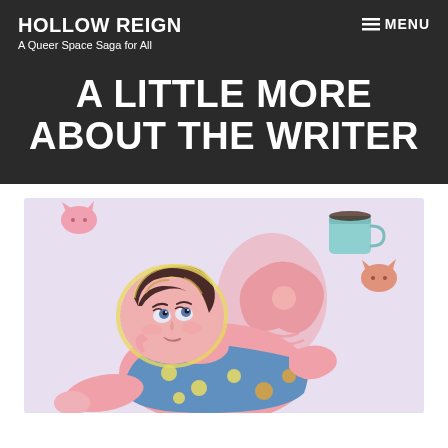HOLLOW REIGN
A Queer Space Saga for All
A LITTLE MORE ABOUT THE WRITER
[Figure (illustration): Cartoon illustration of a chubby young woman with short brown hair lying on her back, looking upward with a contemplative expression, wearing a blue polka-dot dress. Two pink cats are visible in the upper corners. A teal/blue mug floats in the upper right. A pink abstract shape with wavy lines is in the background center-right. The overall color palette is soft pinks, lavender, and muted pastels.]